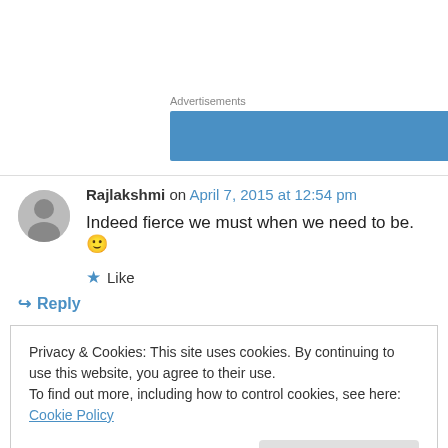Advertisements
[Figure (other): Blue advertisement banner]
Rajlakshmi on April 7, 2015 at 12:54 pm
Indeed fierce we must when we need to be. 🙂
Like
Reply
Privacy & Cookies: This site uses cookies. By continuing to use this website, you agree to their use.
To find out more, including how to control cookies, see here: Cookie Policy
Close and accept
fight and face our fears. Lovely lines Vinitha!